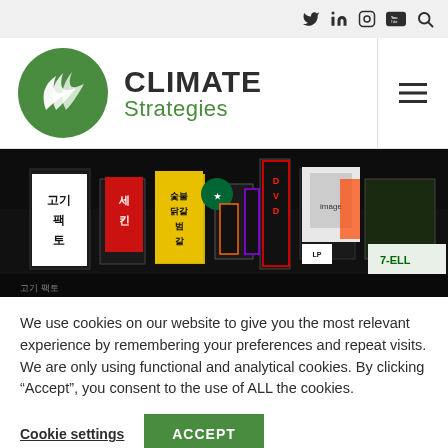Social media icons: Twitter, LinkedIn, Instagram, YouTube, Search
[Figure (logo): Climate Strategies logo — green circle with white leaf/wind design, text CLIMATE Strategies]
[Figure (photo): Night photo of a busy Asian city street (Korea) with neon signs, Korean text, DVD signs, Starbucks logo, 7-Eleven sign]
We use cookies on our website to give you the most relevant experience by remembering your preferences and repeat visits. We are only using functional and analytical cookies. By clicking “Accept”, you consent to the use of ALL the cookies.
Cookie settings | ACCEPT